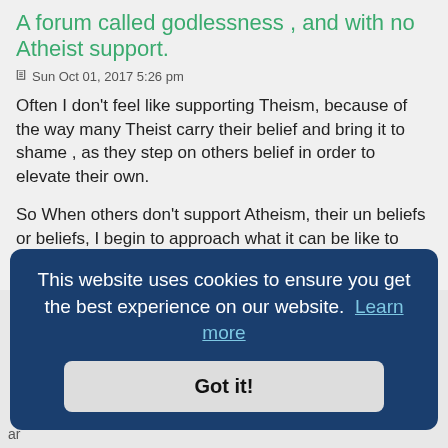A forum called godlessness , and with no Atheist support.
Sun Oct 01, 2017 5:26 pm
Often I don't feel like supporting Theism, because of the way many Theist carry their belief and bring it to shame , as they step on others belief in order to elevate their own.
So When others don't support Atheism, their un beliefs or beliefs, I begin to approach what it can be like to stand on the outside and consider what is in there?
Ted
A forum called godlessness , and with no Atheist support.
This website uses cookies to ensure you get the best experience on our website.  Learn more
Got it!
ar